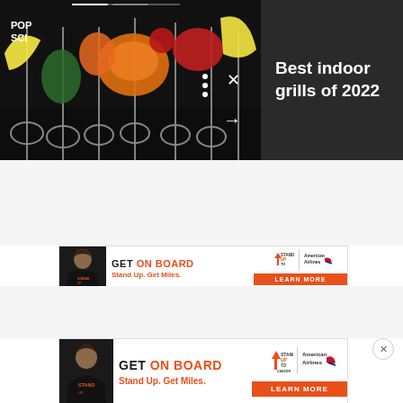[Figure (screenshot): Pop Sci website screenshot showing food on grill skewers with colorful vegetables and lemon slices, dark background, with navigation dots and close/arrow controls]
Best indoor grills of 2022
[Figure (infographic): GET ON BOARD advertisement - Stand Up To Cancer / American Airlines promotion with woman in black t-shirt and Learn More button]
[Figure (infographic): GET ON BOARD advertisement - Stand Up To Cancer / American Airlines promotion with woman in black t-shirt and Learn More button (second instance)]